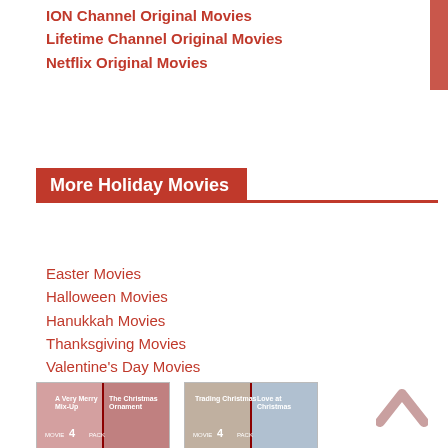ION Channel Original Movies
Lifetime Channel Original Movies
Netflix Original Movies
More Holiday Movies
Easter Movies
Halloween Movies
Hanukkah Movies
Thanksgiving Movies
Valentine's Day Movies
[Figure (photo): Two Hallmark Holiday Collection DVD 4-movie packs showing Christmas movies including A Very Merry Mix-Up, The Christmas Ornament, Trading Christmas, Love at Christmas, and others.]